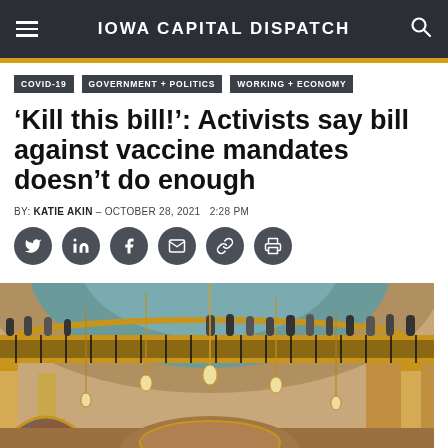IOWA CAPITAL DISPATCH
COVID-19
GOVERNMENT + POLITICS
WORKING + ECONOMY
‘Kill this bill!’: Activists say bill against vaccine mandates doesn’t do enough
BY: KATIE AKIN - OCTOBER 28, 2021  2:28 PM
[Figure (screenshot): Interior of Iowa State Capitol rotunda showing ornate gold-trimmed balcony with people standing along the railing, teal and gold architectural details, arched doorways, and hanging pendant lights.]